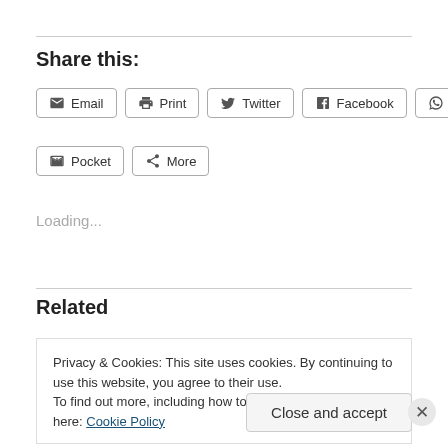Share this:
Email  Print  Twitter  Facebook  WhatsApp  Pocket  More
Loading...
Related
Privacy & Cookies: This site uses cookies. By continuing to use this website, you agree to their use.
To find out more, including how to control cookies, see here: Cookie Policy
Close and accept